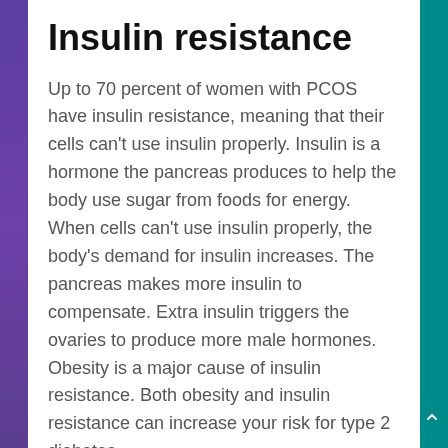Insulin resistance
Up to 70 percent of women with PCOS have insulin resistance, meaning that their cells can't use insulin properly. Insulin is a hormone the pancreas produces to help the body use sugar from foods for energy. When cells can't use insulin properly, the body's demand for insulin increases. The pancreas makes more insulin to compensate. Extra insulin triggers the ovaries to produce more male hormones. Obesity is a major cause of insulin resistance. Both obesity and insulin resistance can increase your risk for type 2 diabetes.